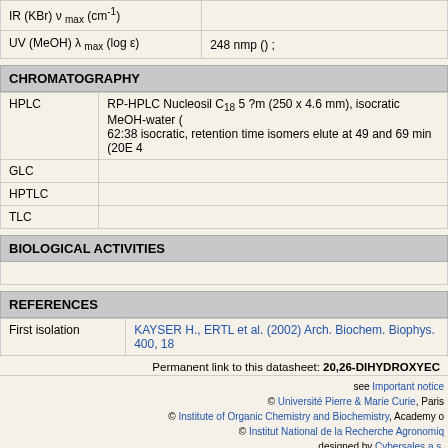| Property | Value |
| --- | --- |
| IR (KBr) ν max (cm⁻¹) |  |
| UV (MeOH) λ max (log ε) | 248 nmp () ; |
CHROMATOGRAPHY
| Method | Details |
| --- | --- |
| HPLC | RP-HPLC Nucleosil C₁₈ 5 ?m (250 x 4.6 mm), isocratic MeOH-water ( 62:38 isocratic, retention time isomers elute at 49 and 69 min (20E 4... |
| GLC |  |
| HPTLC |  |
| TLC |  |
BIOLOGICAL ACTIVITIES
REFERENCES
| Field | Reference |
| --- | --- |
| First isolation | KAYSER H., ERTL et al. (2002) Arch. Biochem. Biophys. 400, 18... |
Permanent link to this datasheet: 20,26-DIHYDROXYEC...
see Important notice
© Université Pierre & Marie Curie, Paris...
© Institute of Organic Chemistry and Biochemistry, Academy o...
© Institut National de la Recherche Agronomiq...
designed by Cybersales a.s.